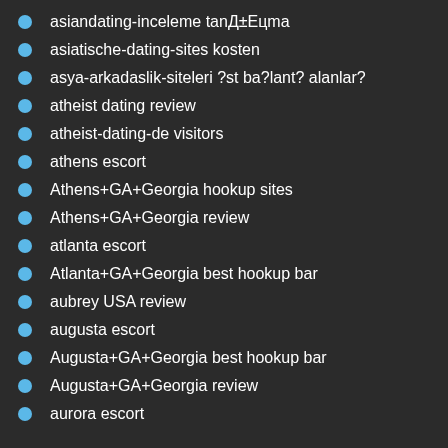asiandating-inceleme tanД±Eцma
asiatische-dating-sites kosten
asya-arkadaslik-siteleri ?st ba?lant? alanlar?
atheist dating review
atheist-dating-de visitors
athens escort
Athens+GA+Georgia hookup sites
Athens+GA+Georgia review
atlanta escort
Atlanta+GA+Georgia best hookup bar
aubrey USA review
augusta escort
Augusta+GA+Georgia best hookup bar
Augusta+GA+Georgia review
aurora escort